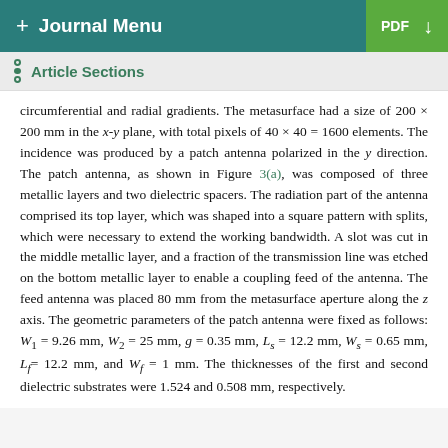+ Journal Menu | PDF ↓
Article Sections
circumferential and radial gradients. The metasurface had a size of 200 × 200 mm in the x-y plane, with total pixels of 40 × 40 = 1600 elements. The incidence was produced by a patch antenna polarized in the y direction. The patch antenna, as shown in Figure 3(a), was composed of three metallic layers and two dielectric spacers. The radiation part of the antenna comprised its top layer, which was shaped into a square pattern with splits, which were necessary to extend the working bandwidth. A slot was cut in the middle metallic layer, and a fraction of the transmission line was etched on the bottom metallic layer to enable a coupling feed of the antenna. The feed antenna was placed 80 mm from the metasurface aperture along the z axis. The geometric parameters of the patch antenna were fixed as follows: W₁ = 9.26 mm, W₂ = 25 mm, g = 0.35 mm, Lₛ = 12.2 mm, Wₛ = 0.65 mm, Lf = 12.2 mm, and Wf = 1 mm. The thicknesses of the first and second dielectric substrates were 1.524 and 0.508 mm, respectively.